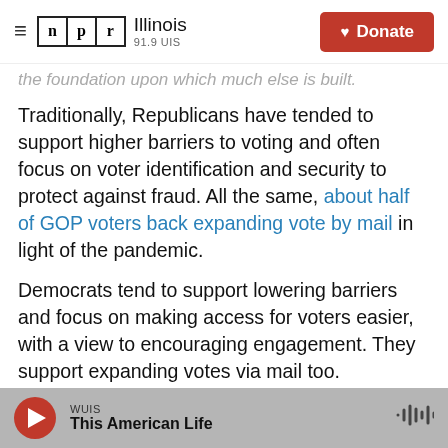NPR Illinois 91.9 UIS | Donate
the foundation upon which much else is built.
Traditionally, Republicans have tended to support higher barriers to voting and often focus on voter identification and security to protect against fraud. All the same, about half of GOP voters back expanding vote by mail in light of the pandemic.
Democrats tend to support lowering barriers and focus on making access for voters easier, with a view to encouraging engagement. They support expanding votes via mail too.
The next fight, in many cases, is about who and
WUIS | This American Life